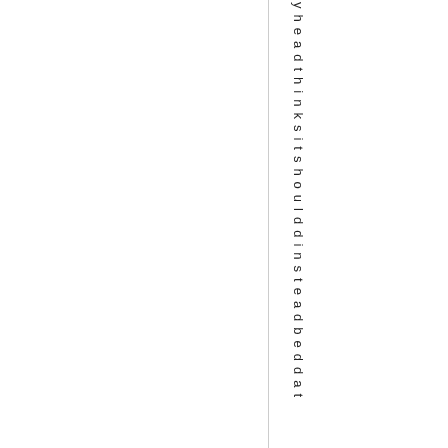yheadthinksitshoulddinsteadbeddat